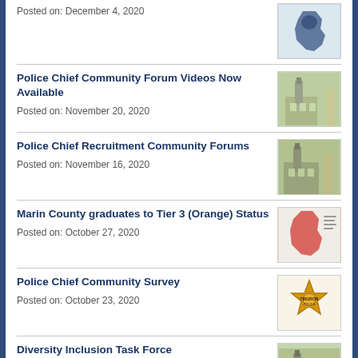Posted on: December 4, 2020
[Figure (illustration): Blue California map icon]
Police Chief Community Forum Videos Now Available
Posted on: November 20, 2020
[Figure (photo): Building with clock tower]
Police Chief Recruitment Community Forums
Posted on: November 16, 2020
[Figure (photo): Building with clock tower]
Marin County graduates to Tier 3 (Orange) Status
Posted on: October 27, 2020
[Figure (map): California state map with orange/red tier colors]
Police Chief Community Survey
Posted on: October 23, 2020
[Figure (illustration): Police badge/star logo]
Diversity Inclusion Task Force
Posted on: October 9, 2020
[Figure (photo): Building with clock tower]